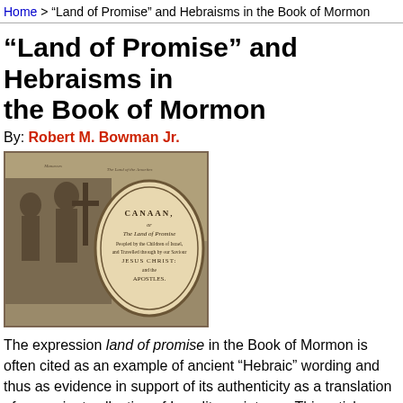Home > "Land of Promise" and Hebraisms in the Book of Mormon
“Land of Promise” and Hebraisms in the Book of Mormon
By: Robert M. Bowman Jr.
[Figure (illustration): Historical engraved map of Canaan titled 'The Land of Promise']
The expression land of promise in the Book of Mormon is often cited as an example of ancient “Hebraic” wording and thus as evidence in support of its authenticity as a translation of an ancient collection of Israelite scriptures. This article takes a close look at this argument.
What Mormons Say about Land of Promise as a Hebraism in the Book of Mormon